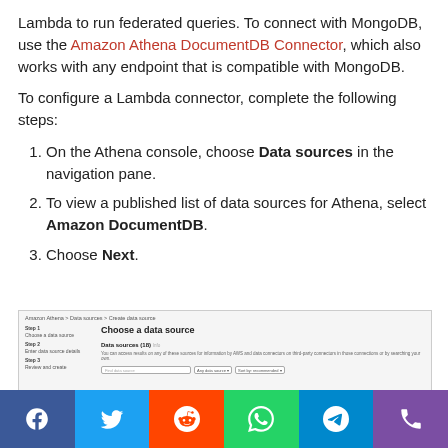Lambda to run federated queries. To connect with MongoDB, use the Amazon Athena DocumentDB Connector, which also works with any endpoint that is compatible with MongoDB.
To configure a Lambda connector, complete the following steps:
On the Athena console, choose Data sources in the navigation pane.
To view a published list of data sources for Athena, select Amazon DocumentDB.
Choose Next.
[Figure (screenshot): AWS Athena console screenshot showing 'Choose a data source' page with breadcrumb navigation, step sidebar (Step 1: Choose a data source, Step 2: Enter data source details, Step 3: Review and create), and main panel showing 'Data sources (18)' with search box and filter dropdowns.]
Social sharing bar with Facebook, Twitter, Reddit, WhatsApp, Telegram, Phone icons